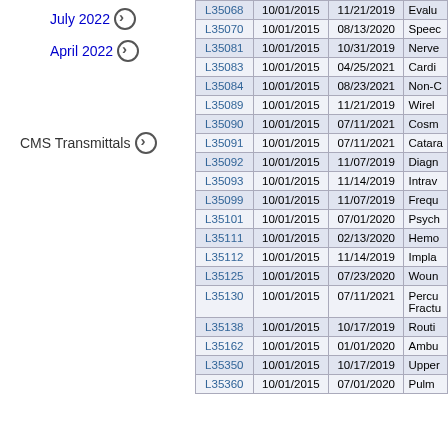July 2022 →
April 2022 →
CMS Transmittals →
| LCD | Original Effective Date | Retirement Date | LCD Name |
| --- | --- | --- | --- |
| L35068 | 10/01/2015 | 11/21/2019 | Evalu... |
| L35070 | 10/01/2015 | 08/13/2020 | Speec... |
| L35081 | 10/01/2015 | 10/31/2019 | Nerve... |
| L35083 | 10/01/2015 | 04/25/2021 | Cardi... |
| L35084 | 10/01/2015 | 08/23/2021 | Non-C... |
| L35089 | 10/01/2015 | 11/21/2019 | Wirel... |
| L35090 | 10/01/2015 | 07/11/2021 | Cosm... |
| L35091 | 10/01/2015 | 07/11/2021 | Catara... |
| L35092 | 10/01/2015 | 11/07/2019 | Diagn... |
| L35093 | 10/01/2015 | 11/14/2019 | Intrav... |
| L35099 | 10/01/2015 | 11/07/2019 | Frequ... |
| L35101 | 10/01/2015 | 07/01/2020 | Psych... |
| L35111 | 10/01/2015 | 02/13/2020 | Hemo... |
| L35112 | 10/01/2015 | 11/14/2019 | Impla... |
| L35125 | 10/01/2015 | 07/23/2020 | Woun... |
| L35130 | 10/01/2015 | 07/11/2021 | Percu... Fractu... |
| L35138 | 10/01/2015 | 10/17/2019 | Routi... |
| L35162 | 10/01/2015 | 01/01/2020 | Ambu... |
| L35350 | 10/01/2015 | 10/17/2019 | Upper... |
| L35360 | 10/01/2015 | 07/01/2020 | Pulm... |